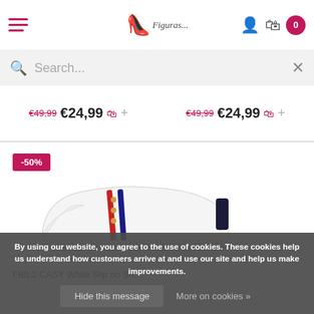[Figure (screenshot): Fashion website header with hamburger menu icon in pink, centered logo with pink heel icon and italic text 'Figuras...', and right-side icons: person, bag, and pink circle with '0']
Search...
€49,99  €24,99  +
€49,99  €24,99  +
[Figure (photo): White slip-on sneaker with navy heel tab and small metallic studs on elastic band, shown on white background. Badge showing -50% in pink.]
FIBL2 CASY White Slip on Sn...
By using our website, you agree to the use of cookies. These cookies help us understand how customers arrive at and use our site and help us make improvements.